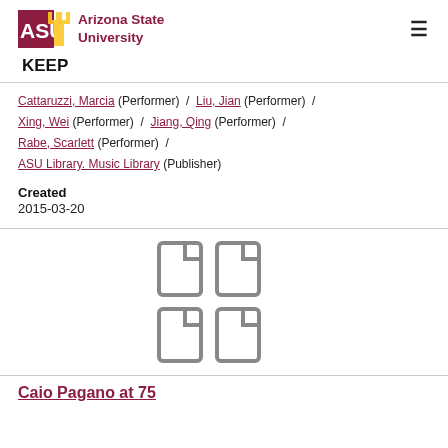Arizona State University | KEEP
Cattaruzzi, Marcia (Performer) / Liu, Jian (Performer) / Xing, Wei (Performer) / Jiang, Qing (Performer) / Rabe, Scarlett (Performer) / ASU Library. Music Library (Publisher)
Created
2015-03-20
[Figure (illustration): Four document/file icons arranged in a 2x2 grid, grey colored]
Caio Pagano at 75